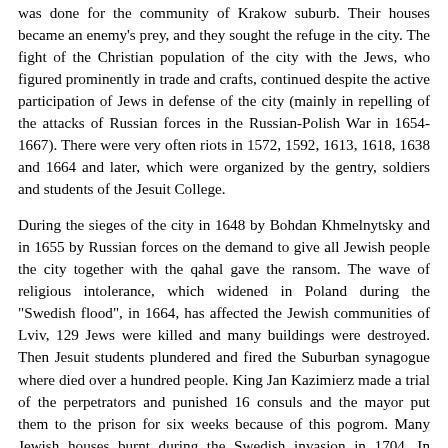was done for the community of Krakow suburb. Their houses became an enemy's prey, and they sought the refuge in the city. The fight of the Christian population of the city with the Jews, who figured prominently in trade and crafts, continued despite the active participation of Jews in defense of the city (mainly in repelling of the attacks of Russian forces in the Russian-Polish War in 1654-1667). There were very often riots in 1572, 1592, 1613, 1618, 1638 and 1664 and later, which were organized by the gentry, soldiers and students of the Jesuit College.
During the sieges of the city in 1648 by Bohdan Khmelnytsky and in 1655 by Russian forces on the demand to give all Jewish people the city together with the qahal gave the ransom. The wave of religious intolerance, which widened in Poland during the "Swedish flood", in 1664, has affected the Jewish communities of Lviv, 129 Jews were killed and many buildings were destroyed. Then Jesuit students plundered and fired the Suburban synagogue where died over a hundred people. King Jan Kazimierz made a trial of the perpetrators and punished 16 consuls and the mayor put them to the prison for six weeks because of this pogrom. Many Jewish houses burnt during the Swedish invasion in 1704. In addition, the community had to pay the Swedes a large ransom they demanded in very cruel way: while the